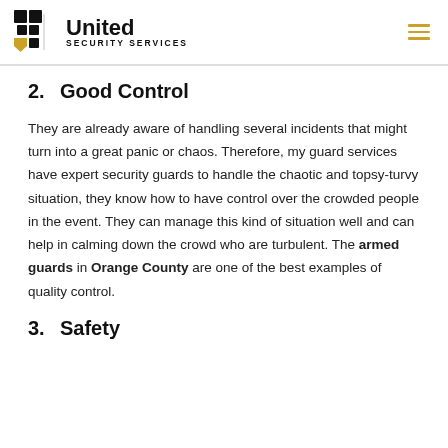United Security Services
2.    Good Control
They are already aware of handling several incidents that might turn into a great panic or chaos. Therefore, my guard services have expert security guards to handle the chaotic and topsy-turvy situation, they know how to have control over the crowded people in the event. They can manage this kind of situation well and can help in calming down the crowd who are turbulent. The armed guards in Orange County are one of the best examples of quality control.
3.    Safety